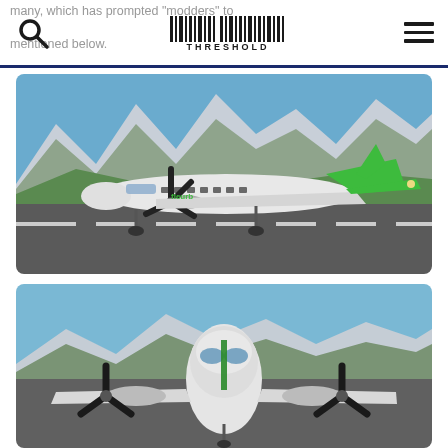many, which has prompted "modders" to mentioned below
[Figure (photo): A white and green turboprop aircraft (appears to be a Jetstream or similar regional turboprop) with green tail livery, parked or taxiing on a runway with snow-capped mountains and green hills in the background. Flight simulator screenshot.]
[Figure (photo): Front-on view of a white twin-engine turboprop aircraft on a runway with mountains and blue sky in the background. Flight simulator screenshot.]